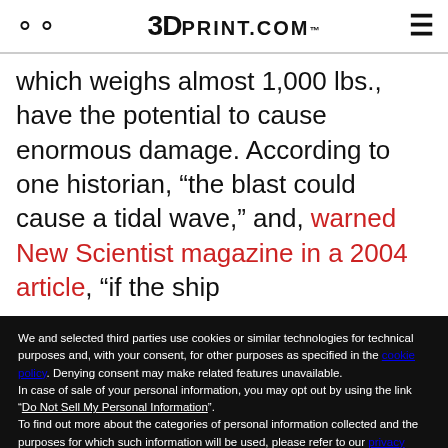3DPRINT.COM
which weighs almost 1,000 lbs., have the potential to cause enormous damage. According to one historian, “the blast could cause a tidal wave,” and, warned New Scientist magazine in a 2004 article, “if the ship
We and selected third parties use cookies or similar technologies for technical purposes and, with your consent, for other purposes as specified in the cookie policy. Denying consent may make related features unavailable.
In case of sale of your personal information, you may opt out by using the link “Do Not Sell My Personal Information”.
To find out more about the categories of personal information collected and the purposes for which such information will be used, please refer to our privacy policy.
You can consent to the use of such technologies by using the “Accept” button, by scrolling this page, by interacting with any link or button outside of this notice or by continuing to browse otherwise.
Reject
Accept
Learn more and customize